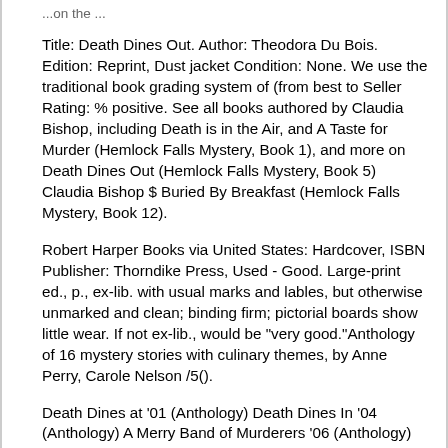...on the ...
Title: Death Dines Out. Author: Theodora Du Bois. Edition: Reprint, Dust jacket Condition: None. We use the traditional book grading system of (from best to Seller Rating: % positive. See all books authored by Claudia Bishop, including Death is in the Air, and A Taste for Murder (Hemlock Falls Mystery, Book 1), and more on Death Dines Out (Hemlock Falls Mystery, Book 5) Claudia Bishop $ Buried By Breakfast (Hemlock Falls Mystery, Book 12).
Robert Harper Books via United States: Hardcover, ISBN Publisher: Thorndike Press, Used - Good. Large-print ed., p., ex-lib. with usual marks and lables, but otherwise unmarked and clean; binding firm; pictorial boards show little wear. If not ex-lib., would be "very good."Anthology of 16 mystery stories with culinary themes, by Anne Perry, Carole Nelson /5().
Death Dines at '01 (Anthology) Death Dines In '04 (Anthology) A Merry Band of Murderers '06 (Anthology) Written as Mary Stanton: BEAUFORT & COMPANY MYSTERY Series: Main Character: